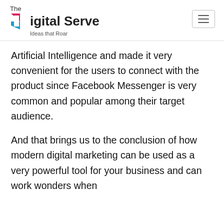The Digital Serve — Ideas that Roar
Artificial Intelligence and made it very convenient for the users to connect with the product since Facebook Messenger is very common and popular among their target audience.
And that brings us to the conclusion of how modern digital marketing can be used as a very powerful tool for your business and can work wonders when